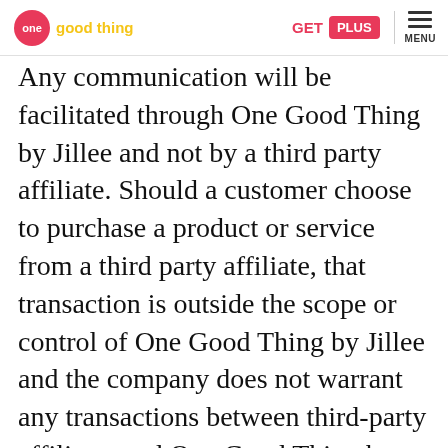one good thing | GET PLUS | MENU
Any communication will be facilitated through One Good Thing by Jillee and not by a third party affiliate. Should a customer choose to purchase a product or service from a third party affiliate, that transaction is outside the scope or control of One Good Thing by Jillee and the company does not warrant any transactions between third-party affiliates and One Good Thing by Jillee customers. While One Good Thing by Jillee does not share your information with third-parties for marketing purposes, it reserves the right to share user-behavior data with